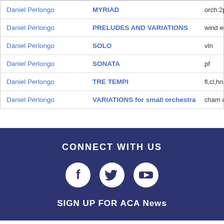| Composer | Title | Instrumentation |
| --- | --- | --- |
| Daniel Perlongo | MYRIAD | orch:2pic-4-2 |
| Daniel Perlongo | PRELUDES AND VARIATIONS | wind ensemb |
| Daniel Perlongo | SOLO | vln |
| Daniel Perlongo | SONATA | pf |
| Daniel Perlongo | TRE TEMPI | fl,cl,hn,vln,vcl |
| Daniel Perlongo | VARIATIONS for small orchestra | cham orch:2- |
CONNECT WITH US
[Figure (infographic): Social media icons: Facebook, Twitter, YouTube (white circles on dark blue background)]
SIGN UP FOR ACA News